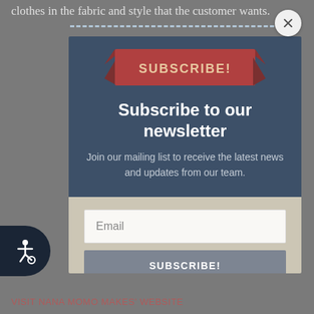clothes in the fabric and style that the customer wants.
[Figure (screenshot): Newsletter subscription modal popup with dark blue header containing a red ribbon banner with 'SUBSCRIBE!' text, bold white 'Subscribe to our newsletter' heading, grey subtitle text 'Join our mailing list to receive the latest news and updates from our team.', beige bottom section with Email input field and SUBSCRIBE! button. Close button (X) at top right. Accessibility icon at bottom left.]
VISIT NANA MOMO MAKES' WEBSITE